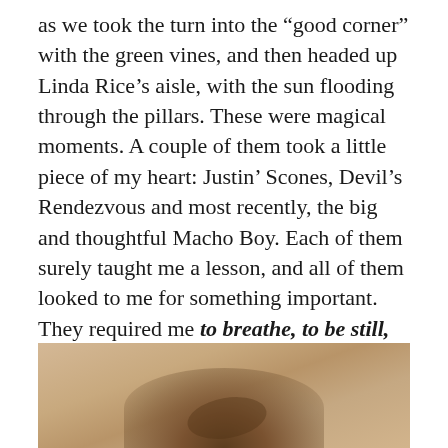as we took the turn into the “good corner” with the green vines, and then headed up Linda Rice’s aisle, with the sun flooding through the pillars. These were magical moments. A couple of them took a little piece of my heart: Justin’ Scones, Devil’s Rendezvous and most recently, the big and thoughtful Macho Boy. Each of them surely taught me a lesson, and all of them looked to me for something important. They required me to breathe, to be still, to be calm, to be steady, to be strong, to be clear and to be present. A recipe I’ll try to hold on to!
[Figure (photo): Partial photo of what appears to be a horse or equestrian scene, cropped at the bottom of the page, warm sandy/earthy tones]